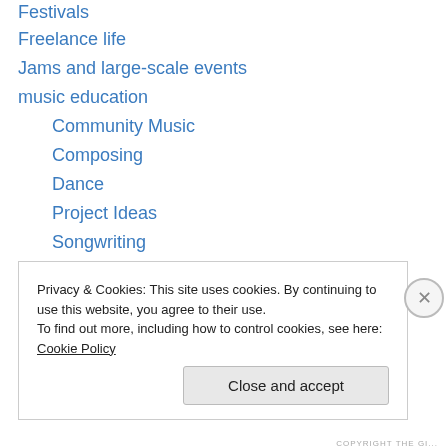Festivals
Freelance life
Jams and large-scale events
music education
Community Music
Composing
Dance
Project Ideas
Songwriting
Teaching music creatively
warm-up games
Other
Playing
Post-conflict arts
Privacy & Cookies: This site uses cookies. By continuing to use this website, you agree to their use.
To find out more, including how to control cookies, see here: Cookie Policy
Close and accept